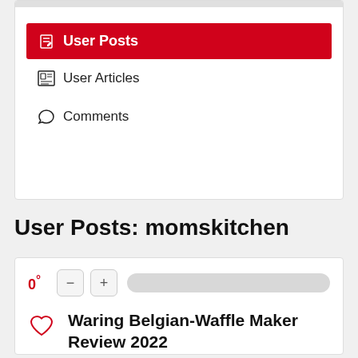User Posts
User Articles
Comments
User Posts: momskitchen
0°
Waring Belgian-Waffle Maker Review 2022